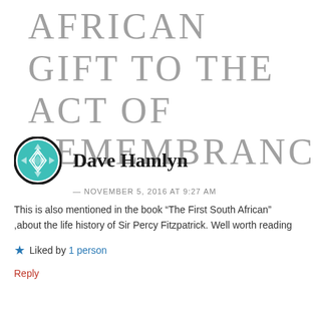AFRICAN GIFT TO THE ACT OF REMEMBRANCE”
[Figure (illustration): Circular avatar icon with teal/turquoise geometric diamond pattern and dark border, representing user Dave Hamlyn]
Dave Hamlyn
— NOVEMBER 5, 2016 AT 9:27 AM
This is also mentioned in the book “The First South African” ,about the life history of Sir Percy Fitzpatrick. Well worth reading
★ Liked by 1 person
Reply